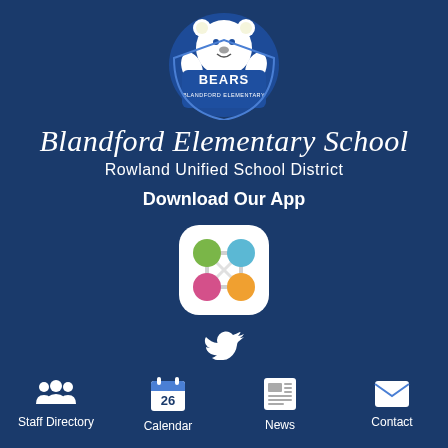[Figure (logo): Blandford Elementary School Bears mascot logo — a cartoon bear holding a shield with BEARS and BLANDFORD ELEMENTARY text]
Blandford Elementary School
Rowland Unified School District
Download Our App
[Figure (logo): App icon showing four colored circles (green, blue, pink, orange) connected in a rounded square shape on a white background]
[Figure (logo): Twitter bird icon in white]
Staff Directory
Calendar
News
Contact